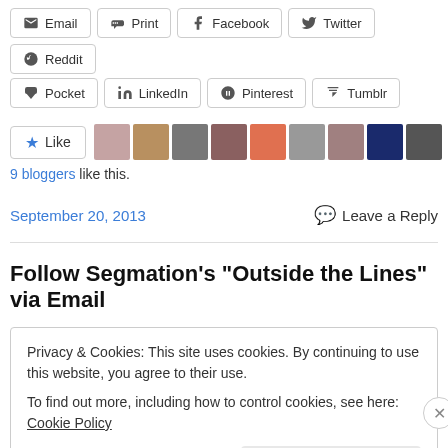Email | Print | Facebook | Twitter | Reddit
Pocket | LinkedIn | Pinterest | Tumblr
[Figure (other): Like button with star icon and 9 blogger avatars]
9 bloggers like this.
September 20, 2013    Leave a Reply
Follow Segmation's "Outside the Lines" via Email
Privacy & Cookies: This site uses cookies. By continuing to use this website, you agree to their use.
To find out more, including how to control cookies, see here: Cookie Policy
Close and accept